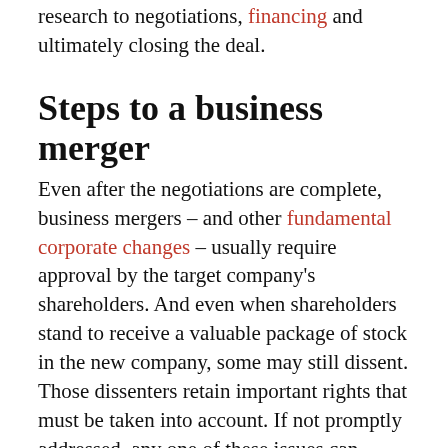research to negotiations, financing and ultimately closing the deal.
Steps to a business merger
Even after the negotiations are complete, business mergers – and other fundamental corporate changes – usually require approval by the target company's shareholders. And even when shareholders stand to receive a valuable package of stock in the new company, some may still dissent. Those dissenters retain important rights that must be taken into account. If not promptly addressed, any one of these issues can seriously delay or even wholly prevent a merger from moving forward.
Our attorneys has collectively participated in